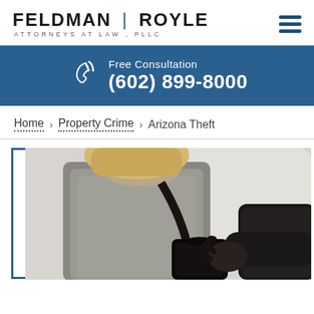[Figure (logo): Feldman | Royle Attorneys at Law, PLLC logo with hamburger menu icon]
[Figure (infographic): Blue banner with phone icon, Free Consultation text, and phone number (602) 899-8000]
Home > Property Crime > Arizona Theft
[Figure (photo): Photo of a person in a gray sweater having their bag stolen by someone in a black jacket, illustrating theft]